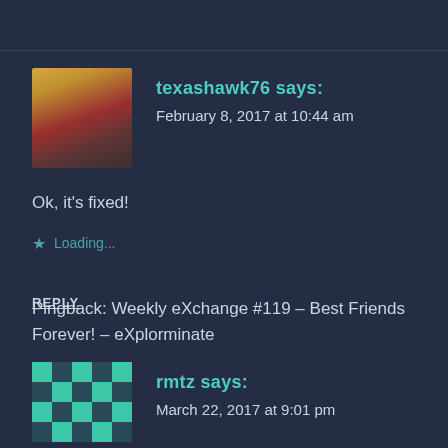texashawk76 says: February 8, 2017 at 10:44 am
Ok, it's fixed!
★ Loading...
REPLY
Pingback: Weekly eXchange #119 – Best Friends Forever! – eXplorminate
rmtz says: March 22, 2017 at 9:01 pm